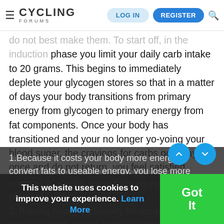≡ CYCLING FORUMS | LOG IN | REGISTER | 🔍
do not best make them. To start off, in the induction phase you limit your daily carb intake to 20 grams. This begins to immediately deplete your glycogen stores so that in a matter of days your body transitions from primary energy from glycogen to primary energy from fat components. Once your body has transitioned and your no longer yo-yoing your blood sugar, the cravings for carbs go away once and do not return, you feel satisfied between meals and you lose weight. There are several advantages to this that even some scientifically trained people still refuse to believe:
1.Because it costs your body more energy to convert fats to useable energy, you lose more energy (i.e. weight) burning the equivalent calories of fats vs. carbs.
2. Burning nearly exclusively fat components triggers signals in your body to suppress hunger.
This website uses cookies to improve your experience. Learn More
Got It